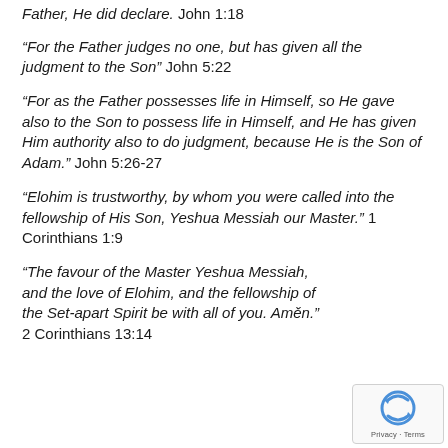Father, He did declare. John 1:18
“For the Father judges no one, but has given all the judgment to the Son” John 5:22
“For as the Father possesses life in Himself, so He gave also to the Son to possess life in Himself, and He has given Him authority also to do judgment, because He is the Son of Adam.” John 5:26-27
“Elohim is trustworthy, by whom you were called into the fellowship of His Son, Yeshua Messiah our Master.” 1 Corinthians 1:9
“The favour of the Master Yeshua Messiah, and the love of Elohim, and the fellowship of the Set-apart Spirit be with all of you. Amĕn.” 2 Corinthians 13:14